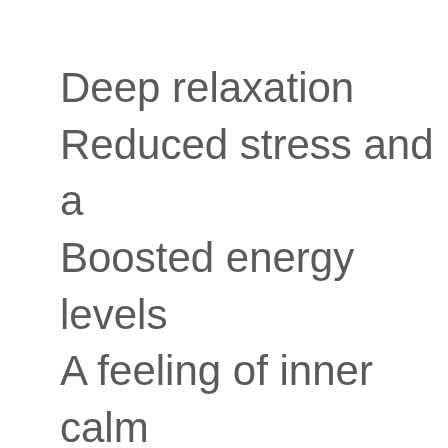Deep relaxation
Reduced stress and a…
Boosted energy levels
A feeling of inner calm and serenity
A speeding up of the n… process